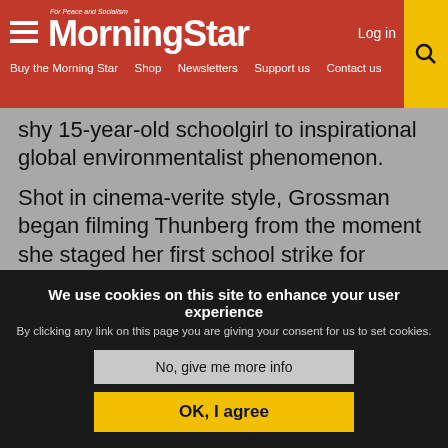Morning Star - For Peace and Socialism | Log in | Buy the Morning Star | Shop | Newsletters | Support us | Contact us
shy 15-year-old schoolgirl to inspirational global environmentalist phenomenon.
Shot in cinema-verite style, Grossman began filming Thunberg from the moment she staged her first school strike for climate action all by herself outside the Swedish parliament in 2018 and then, with her family's support, he captured her meetings with world leaders, headline-making
We use cookies on this site to enhance your user experience By clicking any link on this page you are giving your consent for us to set cookies.
No, give me more info
OK, I agree